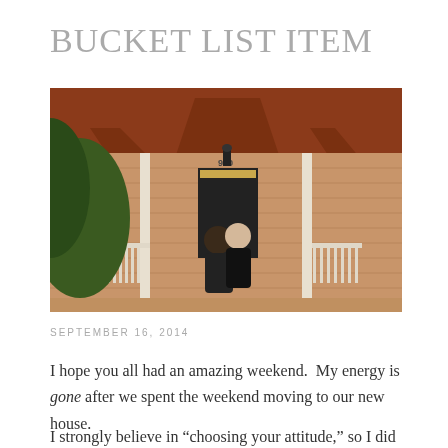BUCKET LIST ITEM
[Figure (photo): Two people hugging on the front porch of a house with number 900, with a red/brown roof overhang and white railings.]
SEPTEMBER 16, 2014
I hope you all had an amazing weekend. My energy is gone after we spent the weekend moving to our new house.
I strongly believe in “choosing your attitude,” so I did my best to not be nasty the entire weekend. Not to be upset